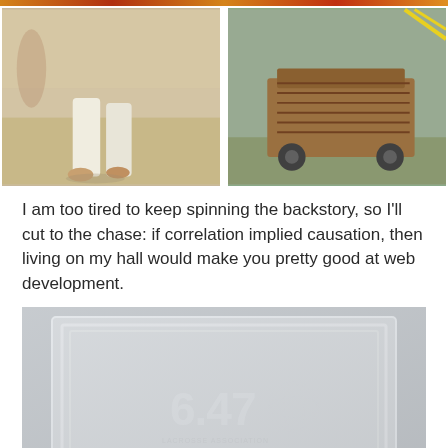[Figure (photo): Person in white martial arts gi standing on a light-colored mat, barefoot, lower body visible]
[Figure (photo): Wooden cart or equipment rack on wheels in a gymnasium or sports hall]
I am too tired to keep spinning the backstory, so I'll cut to the chase: if correlation implied causation, then living on my hall would make you pretty good at web development.
[Figure (photo): Close-up photo of a frosted/etched glass or acrylic panel with the number '6.47' and a globe/lacrosse logo embossed on it]